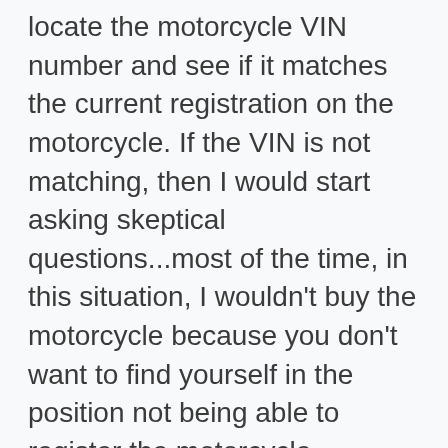locate the motorcycle VIN number and see if it matches the current registration on the motorcycle. If the VIN is not matching, then I would start asking skeptical questions...most of the time, in this situation, I wouldn't buy the motorcycle because you don't want to find yourself in the position not being able to register the motorcycle.